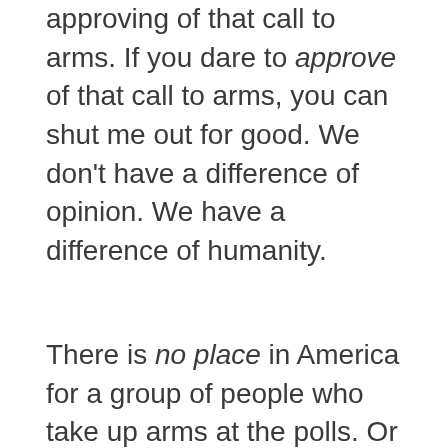approving of that call to arms. If you dare to approve of that call to arms, you can shut me out for good. We don't have a difference of opinion. We have a difference of humanity.
There is no place in America for a group of people who take up arms at the polls. Or after the results come in.